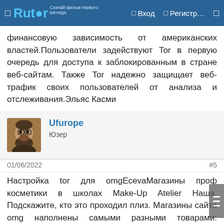Rutor — Вход — Регистр…
финансовую зависимость от американских властей.Пользователи задействуют Tor в первую очередь для доступа к заблокированным в стране веб-сайтам. Также Tor надежно защищает веб-трафик своих пользователей от анализа и отслеживания.Эльяс Касми
Ufurope
Юзер
01/06/2022	#5
Настройка tor для omgEcevaMагазины проф косметики в школах Make-Up Atelier Наша. Подскажите, кто это проходил плиз. Магазины сайта omg наполнены самыми разными товарами: Наркотики (марихуана, стимуляторы, эйфоретики, психоделики, энтеогены, экстази, диссоциативы, опиаты наборы для изготовления практически любого наркотика ( цена одного из таких наборов -25000 рублей).